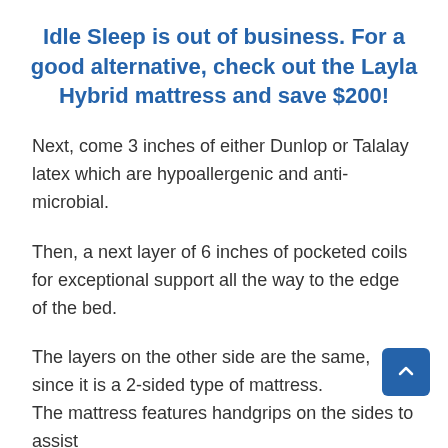Idle Sleep is out of business. For a good alternative, check out the Layla Hybrid mattress and save $200!
Next, come 3 inches of either Dunlop or Talalay latex which are hypoallergenic and anti-microbial.
Then, a next layer of 6 inches of pocketed coils for exceptional support all the way to the edge of the bed.
The layers on the other side are the same, since it is a 2-sided type of mattress.
The mattress features handgrips on the sides to assist